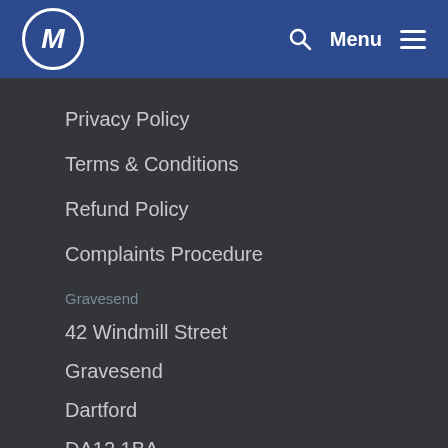M Menu
Privacy Policy
Terms & Conditions
Refund Policy
Complaints Procedure
Gravesend
42 Windmill Street
Gravesend
Dartford
DA12 1BA